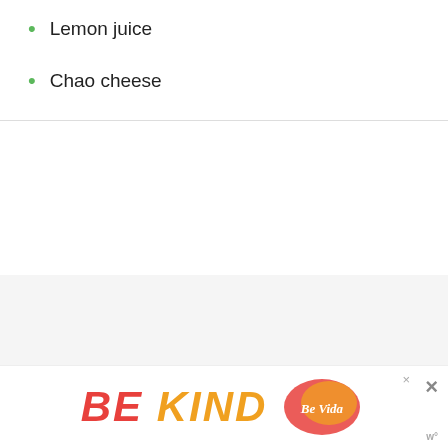Lemon juice
Chao cheese
Originally posted October 3, 2015. Updated January 28, 2020.
[Figure (infographic): BE KIND advertisement banner with decorative logo and close button]